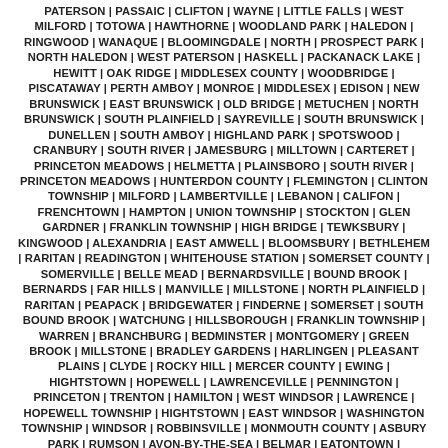PATERSON | PASSAIC | CLIFTON | WAYNE | LITTLE FALLS | WEST MILFORD | TOTOWA | HAWTHORNE | WOODLAND PARK | HALEDON | RINGWOOD | WANAQUE | BLOOMINGDALE | NORTH | PROSPECT PARK | NORTH HALEDON | WEST PATERSON | HASKELL | PACKANACK LAKE | HEWITT | OAK RIDGE | MIDDLESEX COUNTY | WOODBRIDGE | PISCATAWAY | PERTH AMBOY | MONROE | MIDDLESEX | EDISON | NEW BRUNSWICK | EAST BRUNSWICK | OLD BRIDGE | METUCHEN | NORTH BRUNSWICK | SOUTH PLAINFIELD | SAYREVILLE | SOUTH BRUNSWICK | DUNELLEN | SOUTH AMBOY | HIGHLAND PARK | SPOTSWOOD | CRANBURY | SOUTH RIVER | JAMESBURG | MILLTOWN | CARTERET | PRINCETON MEADOWS | HELMETTA | PLAINSBORO | SOUTH RIVER | PRINCETON MEADOWS | HUNTERDON COUNTY | FLEMINGTON | CLINTON TOWNSHIP | MILFORD | LAMBERTVILLE | LEBANON | CALIFON | FRENCHTOWN | HAMPTON | UNION TOWNSHIP | STOCKTON | GLEN GARDNER | FRANKLIN TOWNSHIP | HIGH BRIDGE | TEWKSBURY | KINGWOOD | ALEXANDRIA | EAST AMWELL | BLOOMSBURY | BETHLEHEM | RARITAN | READINGTON | WHITEHOUSE STATION | SOMERSET COUNTY | SOMERVILLE | BELLE MEAD | BERNARDSVILLE | BOUND BROOK | BERNARDS | FAR HILLS | MANVILLE | MILLSTONE | NORTH PLAINFIELD | RARITAN | PEAPACK | BRIDGEWATER | FINDERNE | SOMERSET | SOUTH BOUND BROOK | WATCHUNG | HILLSBOROUGH | FRANKLIN TOWNSHIP | WARREN | BRANCHBURG | BEDMINSTER | MONTGOMERY | GREEN BROOK | MILLSTONE | BRADLEY GARDENS | HARLINGEN | PLEASANT PLAINS | CLYDE | ROCKY HILL | MERCER COUNTY | EWING | HIGHTSTOWN | HOPEWELL | LAWRENCEVILLE | PENNINGTON | PRINCETON | TRENTON | HAMILTON | WEST WINDSOR | LAWRENCE | HOPEWELL TOWNSHIP | HIGHTSTOWN | EAST WINDSOR | WASHINGTON TOWNSHIP | WINDSOR | ROBBINSVILLE | MONMOUTH COUNTY | ASBURY PARK | RUMSON | AVON-BY-THE-SEA | BELMAR | EATONTOWN | ENGLISHTOWN | FARMINGDALE | FREEHOLD | KEANSBURG | KEYPORT | LONG BRANCH | MANASQUAN | MATAWAN | MONMOUTH BEACH | NEPTUNE | OAKHURST | RED BANK | SEA GIRT | SHREWSBURY | SPRING LAKE | TINTON FALLS | MIDDLETOWN | HOWELL | FREEHOLD BOROUGH | HOLMDEL | HAZLET | WALL TOWNSHIP | MANALAPAN | MARLBORO | ATLANTIC HIGHLANDS | WEST LONG BRANCH | SPRING LAKE | LITTLE SILVER | OCEANPORT | NEPTUNE CITY | MONMOUTH BEACH | HIGHLANDS | FAIR HAVEN | SEA BRIGHT | BRIELLE | BRADLEY